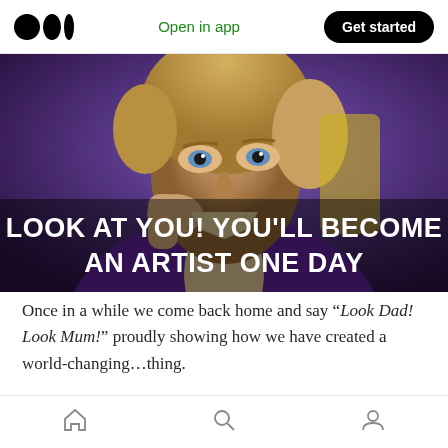Open in app  Get started
[Figure (photo): Meme image of actor (Gene Wilder as Willy Wonka) resting chin on hand with a sarcastic smile, wearing a purple jacket. Bold white text overlay reads: LOOK AT YOU! YOU'LL BECOME AN ARTIST ONE DAY]
Once in a while we come back home and say “Look Dad! Look Mum!” proudly showing how we have created a world-changing…thing.
Most of the time, it is not really world-changing. Not yet, at least.
Home  Search  Profile (bottom navigation icons)